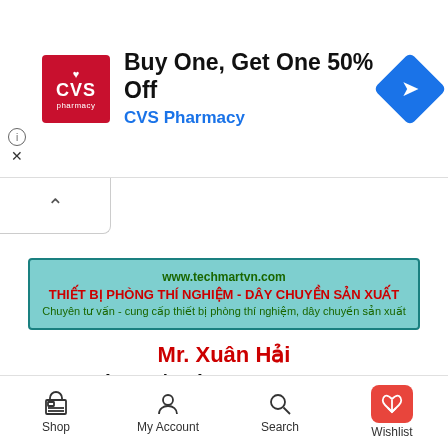[Figure (screenshot): CVS Pharmacy ad banner: 'Buy One, Get One 50% Off' with CVS logo and navigation arrow icon]
[Figure (screenshot): Techmart Vietnam promotional banner with URL, company name in red, and services description in green]
Mr. Xuân Hải
Phone / Zalo: 0918 509 782
Email: haítechmartvn@gmail.com
[Figure (screenshot): Mobile bottom navigation bar with Shop, My Account, Search, and Wishlist icons]